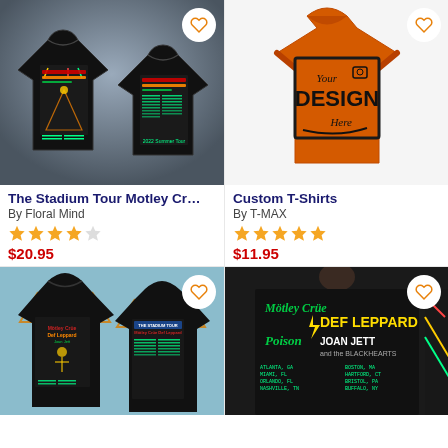[Figure (photo): Two black t-shirts showing front and back of Stadium Tour Motley Crue Def Leppard Poison Joan Jett design on smoky background]
[Figure (photo): Orange custom t-shirt with 'Your DESIGN Here' placeholder text in black box]
The Stadium Tour Motley Cr…
By Floral Mind
★★★★☆
$20.95
Custom T-Shirts
By T-MAX
★★★★★
$11.95
[Figure (photo): Two black Motley Crue Def Leppard Stadium Tour t-shirts on hangers against blue wall]
[Figure (photo): Back view of person wearing black long sleeve Stadium Tour shirt showing Motley Crue Def Leppard Poison Joan Jett design]